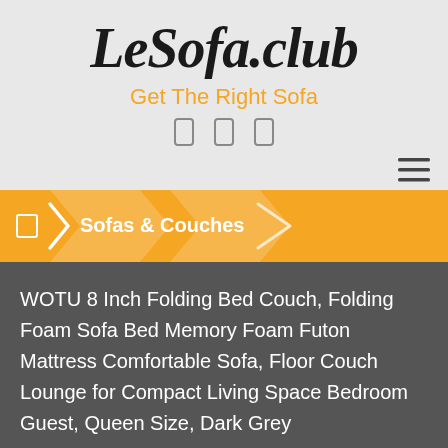LeSofa.club
Get The Right Sofa
[Figure (other): Three social media icon outlines (rounded rectangle shapes) centered below tagline]
[Figure (other): Hamburger menu icon (three horizontal lines) in top right area]
Sofas & Couches
WOTU 8 Inch Folding Bed Couch, Folding Foam Sofa Bed Memory Foam Futon Mattress Comfortable Sofa, Floor Couch Lounge for Compact Living Space Bedroom Guest, Queen Size, Dark Grey